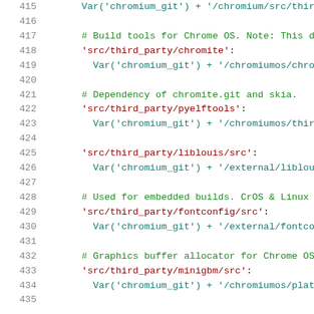[Figure (screenshot): Source code listing showing lines 415-435 of a DEPS file for Chromium, with line numbers on the left, green comments, dark red string keys, and teal Var() calls.]